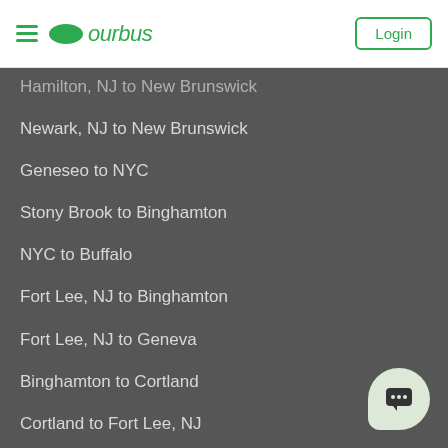ourbus — Login
Hamilton, NJ to New Brunswick
Newark, NJ to New Brunswick
Geneseo to NYC
Stony Brook to Binghamton
NYC to Buffalo
Fort Lee, NJ to Binghamton
Fort Lee, NJ to Geneva
Binghamton to Cortland
Cortland to Fort Lee, NJ
Buffalo to Fort Lee, NJ
Atlantic City to Towson
Columbia-SC to Atlanta
Niagara to Ithaca
Columbia, MD to Newark, NJ
New Brunswick to Columbia, MD